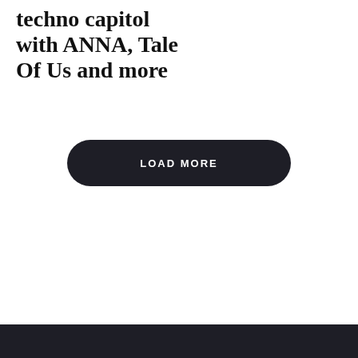techno capitol with ANNA, Tale Of Us and more
LOAD MORE